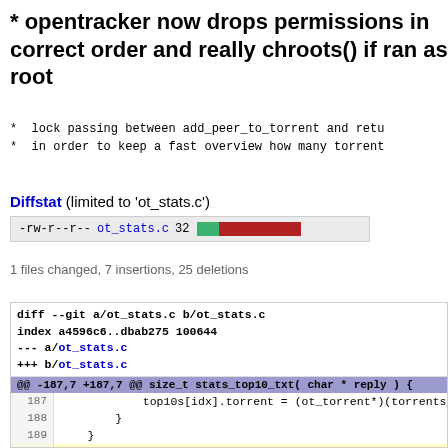* opentracker now drops permissions in correct order and really chroots() if ran as root
* lock passing between add_peer_to_torrent and retu
* in order to keep a fast overview how many torrent
Diffstat (limited to 'ot_stats.c')
-rw-r--r-- ot_stats.c 32 [green bar][red bar]
1 files changed, 7 insertions, 25 deletions
diff --git a/ot_stats.c b/ot_stats.c
index a4596c6..dbab275 100644
--- a/ot_stats.c
+++ b/ot_stats.c
@@ -187,7 +187,7 @@ size_t stats_top10_txt( char * reply ) {
187   top10s[idx].torrent = (ot_torrent*)(torrents_list->da
188   }
189   }
190   mutex_bucket_unlock( bucket );
191   if( !g_opentracker_running )
192     return 0;
193   }
@@ -241,7 +241,7 @@ static size_t stats_slash24s_txt( char * reply,
241     if( !count ) {
242       count = malloc( sizeof(uint32_t) * NUM_S24S );
243       if( !count ) {
244         mutex_bucket_unlock( bucket );
245         goto bailout_cleanup;
246       }
247   byte_zero( count, sizeof( uint32_t ) * NUM_S24S